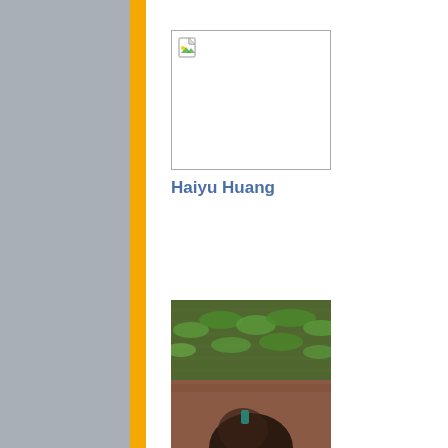[Figure (photo): Broken/missing image placeholder with document icon in top-left corner]
Haiyu Huang
[Figure (photo): Partial photo of a person with dark hair, against a background of green plants and a brick wall]